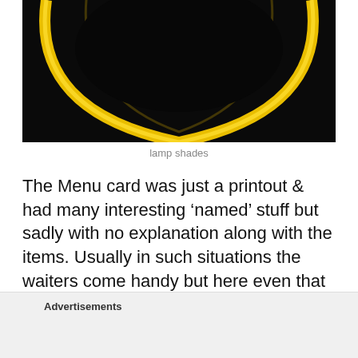[Figure (photo): Close-up photo of a yellow glowing lamp shade ring on a black background]
lamp shades
The Menu card was just a printout & had many interesting ‘named’ stuff but sadly with no explanation along with the items. Usually in such situations the waiters come handy but here even that was not the case.
[Figure (photo): Partially visible photo at the bottom of the page]
Advertisements